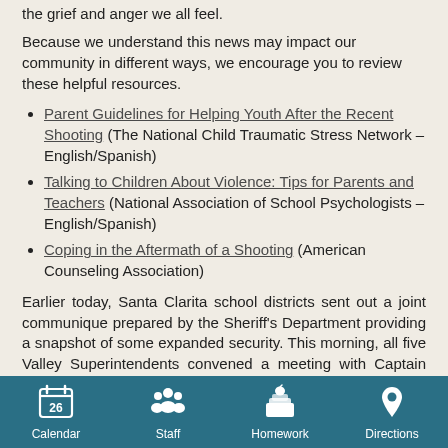the grief and anger we all feel.
Because we understand this news may impact our community in different ways, we encourage you to review these helpful resources.
Parent Guidelines for Helping Youth After the Recent Shooting (The National Child Traumatic Stress Network – English/Spanish)
Talking to Children About Violence: Tips for Parents and Teachers (National Association of School Psychologists – English/Spanish)
Coping in the Aftermath of a Shooting (American Counseling Association)
Earlier today, Santa Clarita school districts sent out a joint communique prepared by the Sheriff's Department providing a snapshot of some expanded security. This morning, all five Valley Superintendents convened a meeting with Captain Justin Diez to discuss how we can work together to keep our schools safe.  The Sheriff's Department committed
Calendar  Staff  Homework  Directions